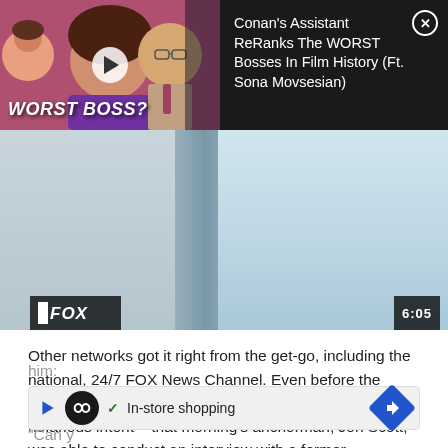[Figure (screenshot): Video overlay thumbnail showing 'WORST BOSS?' text with people and a play button, alongside title 'Conan's Assistant ReRanks The WORST Bosses In Film History (Ft. Sona Movsesian)' on dark background with close (X) button]
[Figure (screenshot): Fox News broadcast screen capture showing a blurry studio or stage background with Fox News logo at bottom left and timestamp '6:05' at bottom right]
Other networks got it right from the get-go, including the national, 24/7 FOX News Channel. Even before the second plane hit the second tower – all but confirming nefarious intent – that morning's anchorman, Jon Scott, was able to conduct an interview with a former investigator for the National Transportation Safety Board. Scott aptly asked him:
him:
[Figure (screenshot): Advertisement banner with loop/infinity icon, play icon, checkmark, 'In-store shopping' text, and blue navigation arrow icon]
"Can y